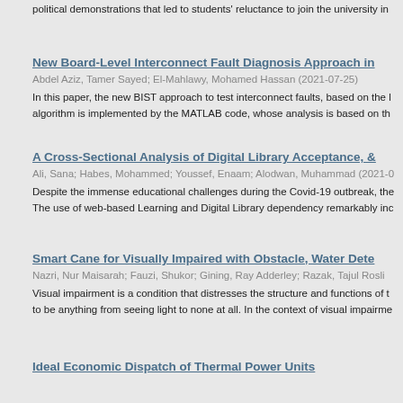political demonstrations that led to students' reluctance to join the university in
New Board-Level Interconnect Fault Diagnosis Approach in
Abdel Aziz, Tamer Sayed; El-Mahlawy, Mohamed Hassan (2021-07-25)
In this paper, the new BIST approach to test interconnect faults, based on the l algorithm is implemented by the MATLAB code, whose analysis is based on th
A Cross-Sectional Analysis of Digital Library Acceptance, &
Ali, Sana; Habes, Mohammed; Youssef, Enaam; Alodwan, Muhammad (2021-0
Despite the immense educational challenges during the Covid-19 outbreak, the The use of web-based Learning and Digital Library dependency remarkably inc
Smart Cane for Visually Impaired with Obstacle, Water Dete
Nazri, Nur Maisarah; Fauzi, Shukor; Gining, Ray Adderley; Razak, Tajul Rosli
Visual impairment is a condition that distresses the structure and functions of t to be anything from seeing light to none at all. In the context of visual impairme
Ideal Economic Dispatch of Thermal Power Units